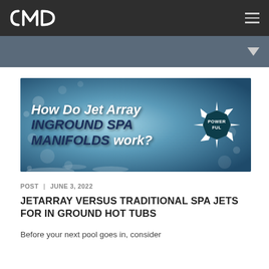CMP
[Figure (illustration): Hero banner image showing bubbling water/spa jets with bold italic text overlay reading 'How Do Jet Array INGROUND SPA MANIFOLDS work?' with a 'POWERFUL' badge/starburst graphic on the right.]
POST | JUNE 3, 2022
JETARRAY VERSUS TRADITIONAL SPA JETS FOR IN GROUND HOT TUBS
Before your next pool goes in, consider